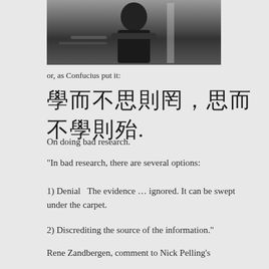[Figure (photo): Black and white photograph of a person, partially cropped, dark background]
or, as Confucius put it:
學而不思則罔，思而不學則殆.
On doing bad research.
“In bad research, there are several options:
1) Denial   The evidence … ignored. It can be swept under the carpet.
2) Discrediting the source of the information.”
Rene Zandbergen, comment to Nick Pelling’s